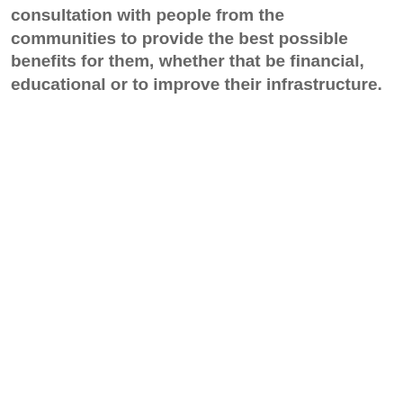consultation with people from the communities to provide the best possible benefits for them, whether that be financial, educational or to improve their infrastructure.